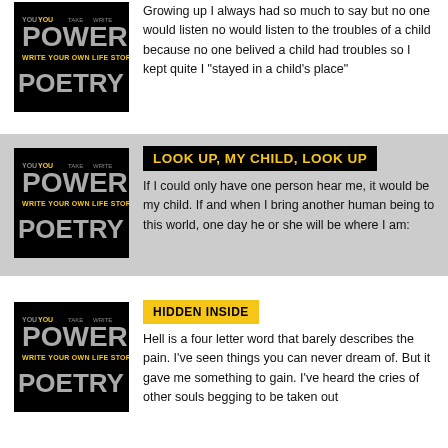[Figure (illustration): Power Poetry book cover - black background with POWER POETRY text in yellow and gray stylized letters, subtitle 'Write Your Own Life Story']
Growing up I always had so much to say but no one would listen  no would listen to the troubles of a child  because no one belived a child had troubles so I kept quite  I "stayed in a child's place"
[Figure (illustration): Power Poetry book cover - black background with POWER POETRY text in yellow and gray stylized letters, subtitle 'Write Your Own Life Story']
LOOK UP, MY CHILD, LOOK UP
If I could only have one person hear me, it would be my child. If and when I bring another human being to this world, one day he or she will be where I am:
[Figure (illustration): Power Poetry book cover - black background with POWER POETRY text in yellow and gray stylized letters, subtitle 'Write Your Own Life Story']
HIDDEN INSIDE
Hell is a four letter word that barely describes the pain. I've seen things you can never dream of. But it gave me something to gain. I've heard the cries of other souls begging to be taken out